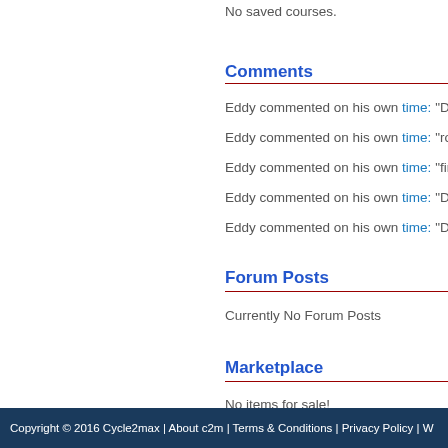No saved courses.
Comments
Eddy commented on his own time: "Did
Eddy commented on his own time: "roa
Eddy commented on his own time: "firs
Eddy commented on his own time: "Did
Eddy commented on his own time: "Did
Forum Posts
Currently No Forum Posts
Marketplace
No items for sale!
Copyright © 2016 Cycle2max | About c2m | Terms & Conditions | Privacy Policy | W